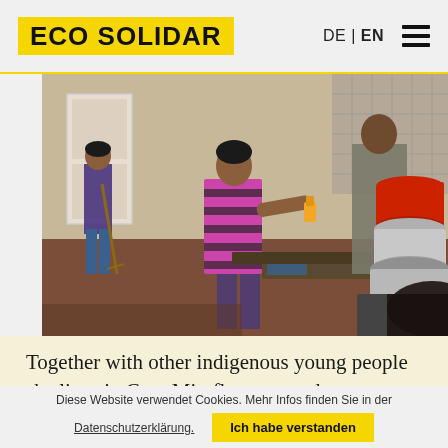ECO SOLIDAR   DE | EN
[Figure (photo): Indoor scene with two women in what appears to be a kitchen or shared living space. One woman in a pink and black striped top holds a spray bottle near a tray of items; another woman in the background sweeps the floor. Stacked metal pots are visible on the right.]
Together with other indigenous young people she lives in Casa Miraflores, a student accommodation. The students do
Diese Website verwendet Cookies. Mehr Infos finden Sie in der Datenschutzerklärung.
Ich habe verstanden